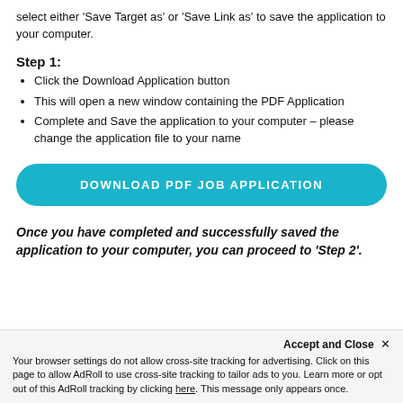select either 'Save Target as' or 'Save Link as' to save the application to your computer.
Step 1:
Click the Download Application button
This will open a new window containing the PDF Application
Complete and Save the application to your computer – please change the application file to your name
[Figure (other): Download PDF Job Application button (teal/cyan rounded rectangle button)]
Once you have completed and successfully saved the application to your computer, you can proceed to 'Step 2'.
Accept and Close ✕
Your browser settings do not allow cross-site tracking for advertising. Click on this page to allow AdRoll to use cross-site tracking to tailor ads to you. Learn more or opt out of this AdRoll tracking by clicking here. This message only appears once.